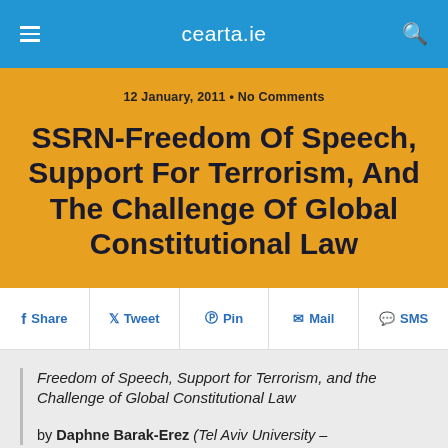cearta.ie
12 January, 2011 • No Comments
SSRN-Freedom Of Speech, Support For Terrorism, And The Challenge Of Global Constitutional Law
Share  Tweet  Pin  Mail  SMS
Freedom of Speech, Support for Terrorism, and the Challenge of Global Constitutional Law

by Daphne Barak-Erez (Tel Aviv University –